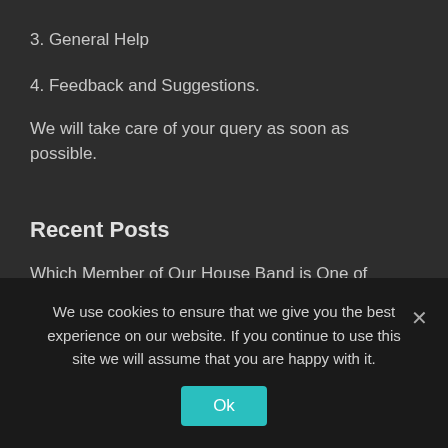3. General Help
4. Feedback and Suggestions.
We will take care of your query as soon as possible.
Recent Posts
Which Member of Our House Band is One of Jimmy's Childhood Friends?
We use cookies to ensure that we give you the best experience on our website. If you continue to use this site we will assume that you are happy with it.